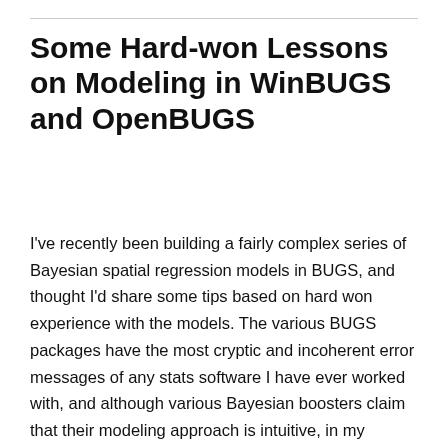Some Hard-won Lessons on Modeling in WinBUGS and OpenBUGS
I've recently been building a fairly complex series of Bayesian spatial regression models in BUGS, and thought I'd share some tips based on hard won experience with the models. The various BUGS packages have the most cryptic and incoherent error messages of any stats software I have ever worked with, and although various Bayesian boosters claim that their modeling approach is intuitive, in my opinion it is the exact opposite of intuitive, and it is extremely hard to configure data for use in the packages. Furthermore, online help is hard to find –